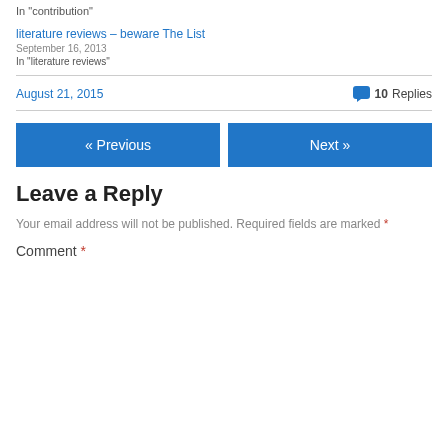In "contribution"
literature reviews – beware The List
September 16, 2013
In "literature reviews"
August 21, 2015   💬 10 Replies
« Previous
Next »
Leave a Reply
Your email address will not be published. Required fields are marked *
Comment *